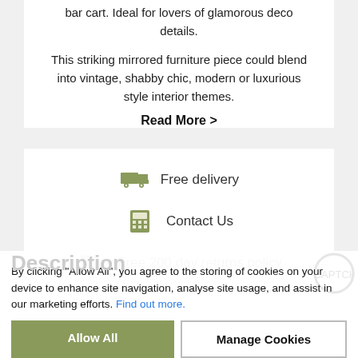bar cart. Ideal for lovers of glamorous deco details.
This striking mirrored furniture piece could blend into vintage, shabby chic, modern or luxurious style interior themes.
Read More >
[Figure (infographic): Free delivery truck icon, telephone icon for Contact Us, and return arrow icon for Free 200 day returns policy]
By clicking “Allow All”, you agree to the storing of cookies on your device to enhance site navigation, analyse site usage, and assist in our marketing efforts. Find out more.
Allow All
Manage Cookies